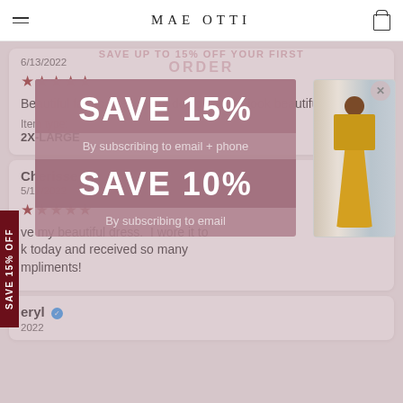MAE OTTI
6/13/2022
★★★★★
Beautiful fabric, well-made design, and I look beautiful in it.
Item type:
2X-LARGE
Cherisse
5/17/2022
★★★★★
ve my beautiful dress. I wore it to k today and received so many mpliments!
[Figure (screenshot): Promotional popup overlay showing SAVE 15% by subscribing to email + phone, and SAVE 10% by subscribing to email, with a photo of a woman in a yellow dress]
eryl ✓
2022
SAVE 15% OFF (side label)